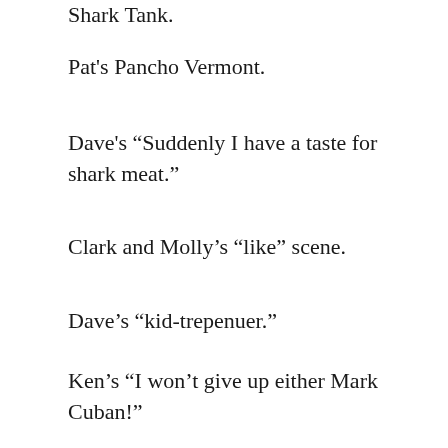Shark Tank.
Pat's Pancho Vermont.
Dave's “Suddenly I have a taste for shark meat.”
Clark and Molly’s “like” scene.
Dave’s “kid-trepenuer.”
Ken’s “I won’t give up either Mark Cuban!”
The panel’s reaction to Ken in the Hot Legs